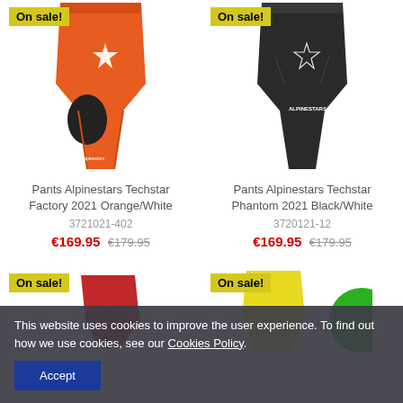[Figure (photo): Orange motocross pants with white star logo on thigh and black knee panel - Alpinestars Techstar Factory 2021]
Pants Alpinestars Techstar Factory 2021 Orange/White
3721021-402
€169.95 €179.95
[Figure (photo): Black motocross pants with white star logo and branding - Alpinestars Techstar Phantom 2021 Black/White]
Pants Alpinestars Techstar Phantom 2021 Black/White
3720121-12
€169.95 €179.95
[Figure (photo): Partial view of red motocross pants with On sale badge]
[Figure (photo): Partial view of yellow boots/gear with On sale badge and green circle element]
This website uses cookies to improve the user experience. To find out how we use cookies, see our Cookies Policy.
Accept